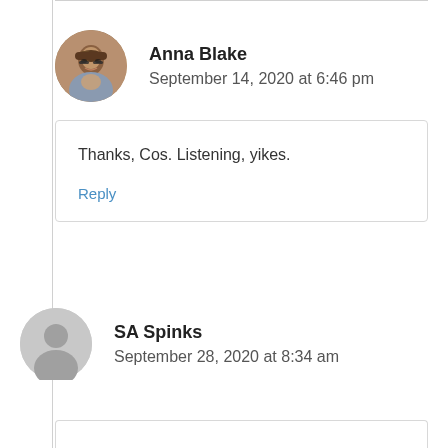Anna Blake
September 14, 2020 at 6:46 pm
Thanks, Cos. Listening, yikes.

Reply
SA Spinks
September 28, 2020 at 8:34 am